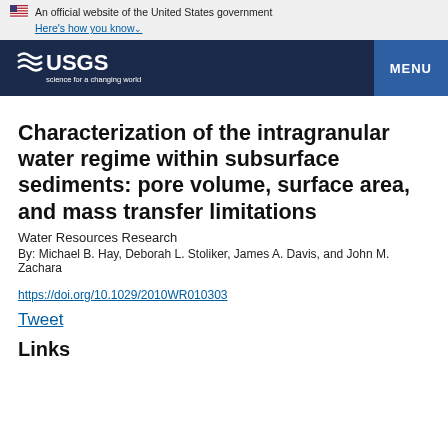An official website of the United States government Here's how you know
[Figure (logo): USGS logo - science for a changing world, with MENU button on the right]
Characterization of the intragranular water regime within subsurface sediments: pore volume, surface area, and mass transfer limitations
Water Resources Research
By: Michael B. Hay, Deborah L. Stoliker, James A. Davis, and John M. Zachara
https://doi.org/10.1029/2010WR010303
Tweet
Links